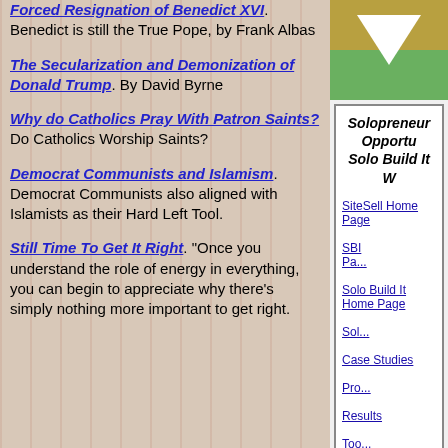Forced Resignation of Benedict XVI. Benedict is still the True Pope, by Frank Albas
The Secularization and Demonization of Donald Trump. By David Byrne
Why do Catholics Pray With Patron Saints? Do Catholics Worship Saints?
Democrat Communists and Islamism. Democrat Communists also aligned with Islamists as their Hard Left Tool.
Still Time To Get It Right. "Once you understand the role of energy in everything, you can begin to appreciate why there's simply nothing more important to get right.
[Figure (illustration): Partial illustration showing a person standing, with gold/yellow and green background colors]
Solopreneur Opportu... Solo Build It W...
SiteSell Home Page
Solo Build It Home Page
Case Studies
Results
Questions
SBI Pa...
Sol...
Pro...
Too...